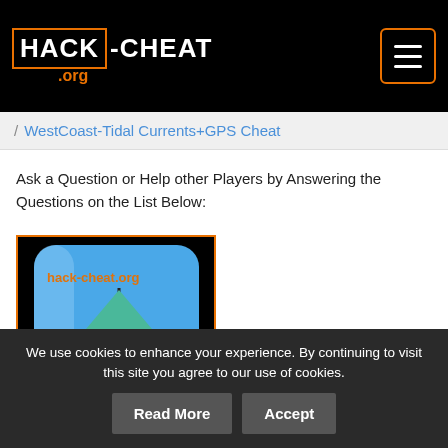HACK-CHEAT.org
WestCoast-Tidal Currents+GPS Cheat
Ask a Question or Help other Players by Answering the Questions on the List Below:
[Figure (illustration): App icon for WestCoast-Tidal Currents+GPS showing a sailboat with green sails and red hull on a blue background, with an anchor underneath. Watermarked with hack-cheat.org in orange text.]
We use cookies to enhance your experience. By continuing to visit this site you agree to our use of cookies.